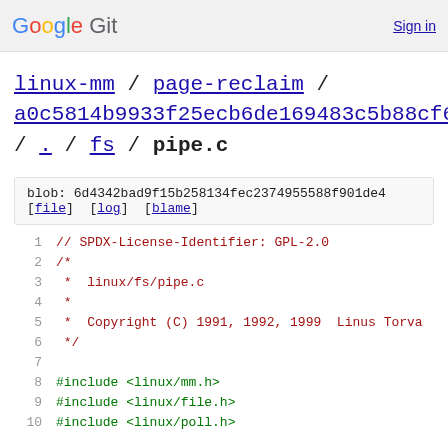Google Git   Sign in
linux-mm / page-reclaim / a0c5814b9933f25ecb6de169483c5b88cf632bca / . / fs / pipe.c
blob: 6d4342bad9f15b258134fec2374955588f901de4
[file] [log] [blame]
1  // SPDX-License-Identifier: GPL-2.0
2  /*
3   *  linux/fs/pipe.c
4   *
5   *  Copyright (C) 1991, 1992, 1999  Linus Torva
6   *  */
7  
8  #include <linux/mm.h>
9  #include <linux/file.h>
10 #include <linux/poll.h>